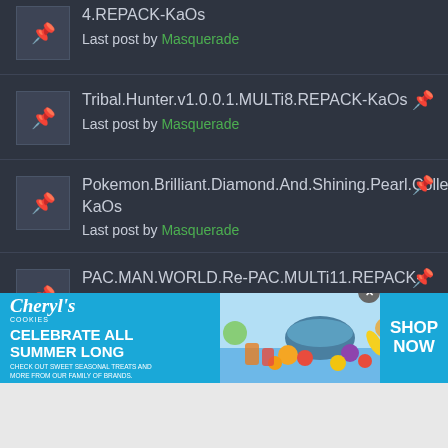4.REPACK-KaOs
Last post by Masquerade
Tribal.Hunter.v1.0.0.1.MULTi8.REPACK-KaOs
Last post by Masquerade
Pokemon.Brilliant.Diamond.And.Shining.Pearl.Collection.NSW.For.PC.REPACK-KaOs
Last post by Masquerade
PAC.MAN.WORLD.Re-PAC.MULTi11.REPACK-KaOs
Last post by Masquerade
[Figure (infographic): Advertisement banner for Cheryl's Cookies: CELEBRATE ALL SUMMER LONG with SHOP NOW button, food imagery on blue background]